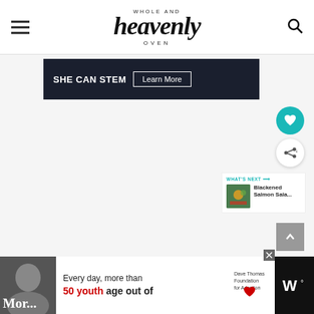Whole and Heavenly Oven
[Figure (screenshot): SHE CAN STEM advertisement banner with dark background]
[Figure (screenshot): Heart/save button (teal circle)]
[Figure (screenshot): Share button (white circle with share icon)]
WHAT'S NEXT → Blackened Salmon Sala...
[Figure (screenshot): Back to top arrow button (grey square)]
[Figure (screenshot): Bottom advertisement: Dave Thomas Foundation for Adoption - Every day, more than 50 youth age out of]
Mor...
Ivy...